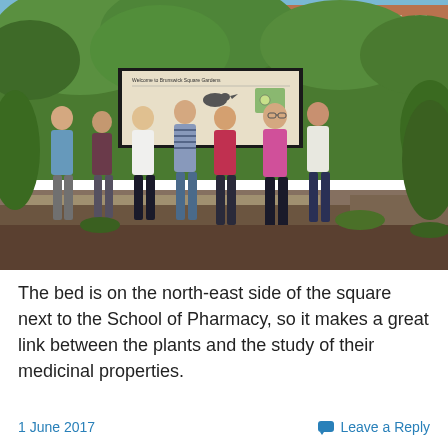[Figure (photo): Group photo of seven people (one man and six women) standing outdoors in front of a sign reading 'Welcome to Brunswick Square Gardens', surrounded by green foliage and a brick building in the background. Taken on a sunny day.]
The bed is on the north-east side of the square next to the School of Pharmacy, so it makes a great link between the plants and the study of their medicinal properties.
1 June 2017
Leave a Reply